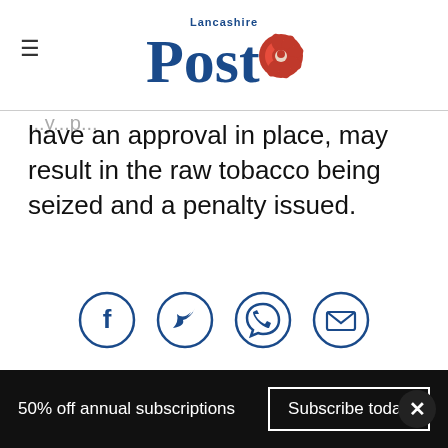Lancashire Post
have an approval in place, may result in the raw tobacco being seized and a penalty issued.
[Figure (other): Social sharing icons: Facebook, Twitter, WhatsApp, Email]
50% off annual subscriptions  Subscribe today